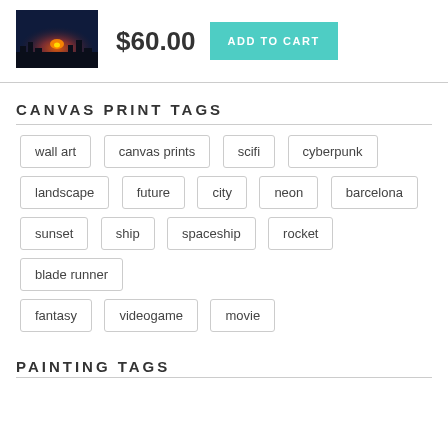[Figure (illustration): Small thumbnail of a sci-fi landscape painting showing a glowing sunset or sunrise with a dark cityscape silhouette]
$60.00
ADD TO CART
CANVAS PRINT TAGS
wall art
canvas prints
scifi
cyberpunk
landscape
future
city
neon
barcelona
sunset
ship
spaceship
rocket
blade runner
fantasy
videogame
movie
PAINTING TAGS